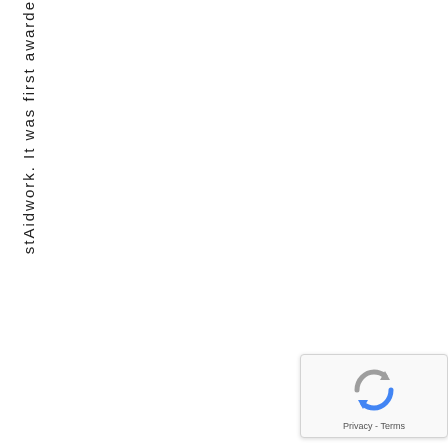stAidwork. It was first awarded e
[Figure (logo): Google reCAPTCHA badge with blue/grey arrow icon and 'Privacy - Terms' text]